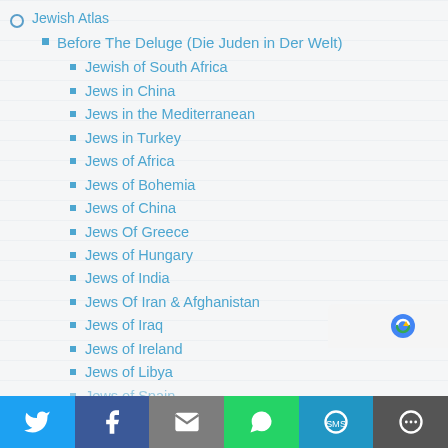Jewish Atlas
Before The Deluge (Die Juden in Der Welt)
Jewish of South Africa
Jews in China
Jews in the Mediterranean
Jews in Turkey
Jews of Africa
Jews of Bohemia
Jews of China
Jews Of Greece
Jews of Hungary
Jews of India
Jews Of Iran & Afghanistan
Jews of Iraq
Jews of Ireland
Jews of Libya
Jews of Spain (partially visible)
Twitter | Facebook | Email | WhatsApp | SMS | More